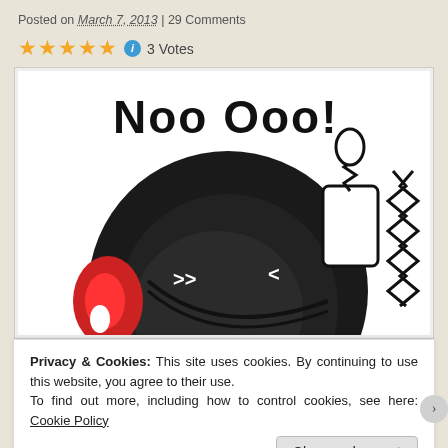Posted on March 7, 2013 | 29 Comments
★★★★★ ℹ 3 Votes
[Figure (illustration): Comic illustration showing a cartoon character with long black hair and a red headphone/ear piece, grimacing with a phone to its face and text 'Noo Ooo!' above it]
Privacy & Cookies: This site uses cookies. By continuing to use this website, you agree to their use.
To find out more, including how to control cookies, see here: Cookie Policy
Close and accept